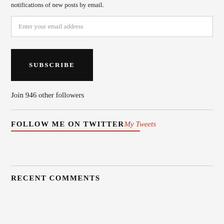notifications of new posts by email.
Enter your email address
SUBSCRIBE
Join 946 other followers
FOLLOW ME ON TWITTERMy Tweets
RECENT COMMENTS